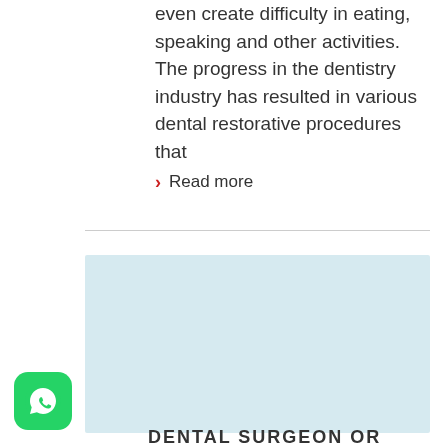even create difficulty in eating, speaking and other activities. The progress in the dentistry industry has resulted in various dental restorative procedures that
› Read more
[Figure (photo): Light blue placeholder rectangle representing an image, likely a dental-related photo]
[Figure (logo): WhatsApp icon button — green rounded square with white phone/chat logo]
DENTAL SURGEON OR